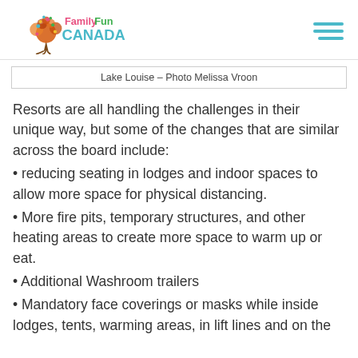FamilyFun CANADA
Lake Louise – Photo Melissa Vroon
Resorts are all handling the challenges in their unique way, but some of the changes that are similar across the board include:
reducing seating in lodges and indoor spaces to allow more space for physical distancing.
More fire pits, temporary structures, and other heating areas to create more space to warm up or eat.
Additional Washroom trailers
Mandatory face coverings or masks while inside lodges, tents, warming areas, in lift lines and on the